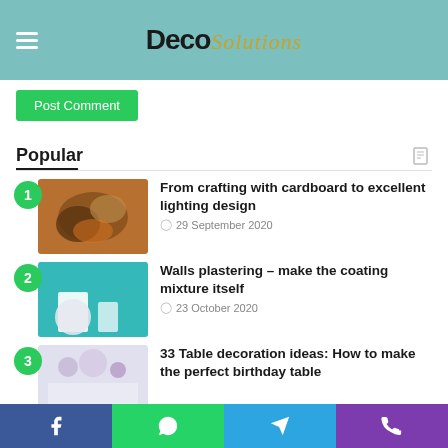Deco Solutions
Post Comment
Popular
From crafting with cardboard to excellent lighting design — 29 September 2020
Walls plastering – make the coating mixture itself — 23 October 2020
33 Table decoration ideas: How to make the perfect birthday table